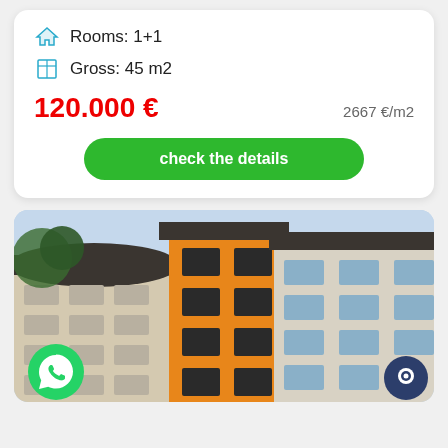Rooms: 1+1
Gross: 45 m2
120.000 €    2667 €/m2
check the details
[Figure (photo): Exterior photo of modern apartment building with orange and white facade, multiple floors with balconies, dark roof, taken from low angle. WhatsApp button overlay bottom-left, chat button bottom-right.]